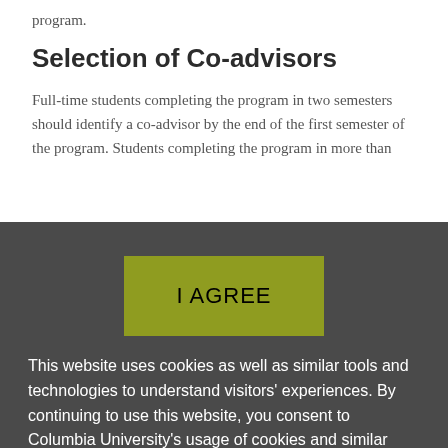program.
Selection of Co-advisors
Full-time students completing the program in two semesters should identify a co-advisor by the end of the first semester of the program. Students completing the program in more than
[Figure (other): Dark overlay modal with olive/yellow-green 'I AGREE' button]
This website uses cookies as well as similar tools and technologies to understand visitors' experiences. By continuing to use this website, you consent to Columbia University's usage of cookies and similar technologies, in accordance with the Columbia University Website Cookie Notice.